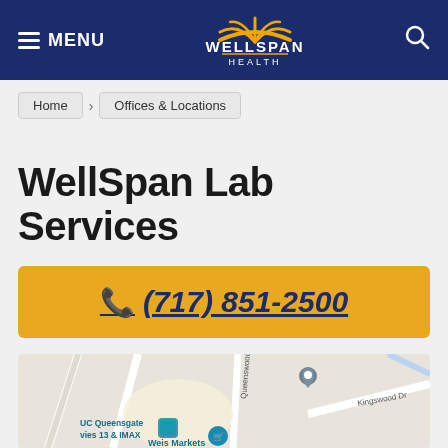MENU | WellSpan Health | Search
Home
Offices & Locations
WellSpan Lab Services
(717) 851-2500
[Figure (map): Google Maps embed showing location near Queensgate Dr, Kingswood Dr, UC Queensgate Movies 13 & IMAX, Weis Markets]